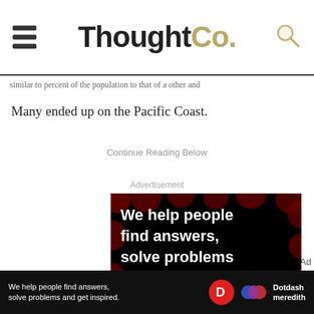ThoughtCo.
Many ended up on the Pacific Coast.
Continue Reading Below
Advertisement
[Figure (illustration): ThoughtCo advertisement with dark background and red dot pattern showing text: 'We help people find answers, solve problems and get inspired.' with a red period. Below shows 'LEARN MORE' with arrow and icons.]
Ad
We help people find answers, solve problems and get inspired.